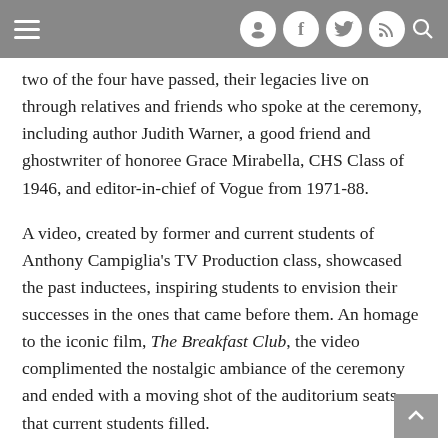Navigation bar with hamburger menu, user icon, Facebook, Twitter, RSS, and search icons
two of the four have passed, their legacies live on through relatives and friends who spoke at the ceremony, including author Judith Warner, a good friend and ghostwriter of honoree Grace Mirabella, CHS Class of 1946, and editor-in-chief of Vogue from 1971-88.
A video, created by former and current students of Anthony Campiglia's TV Production class, showcased the past inductees, inspiring students to envision their successes in the ones that came before them. An homage to the iconic film, The Breakfast Club, the video complimented the nostalgic ambiance of the ceremony and ended with a moving shot of the auditorium seats that current students filled.
Historically, most inductees are honored for what they